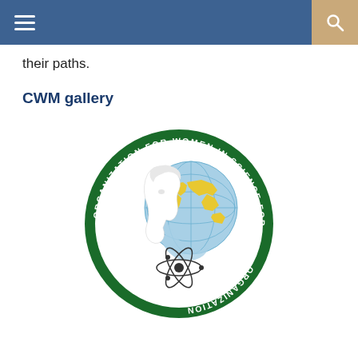their paths.
CWM gallery
[Figure (logo): OWSD – Organization for Women in Science for the Developing World circular logo. Features a stylized woman's profile with a globe showing continents in yellow on a light blue background, and an atom symbol below. Green circular border with white text reading 'ORGANIZATION FOR WOMEN IN SCIENCE FOR THE DEVELOPING WORLD'.]